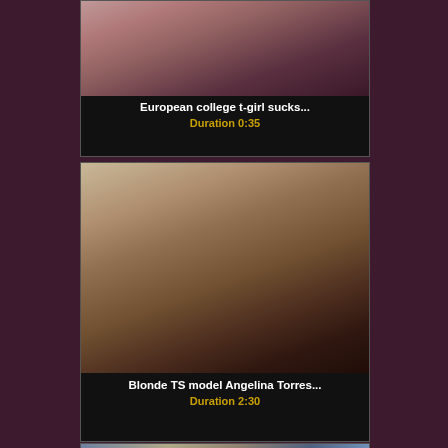[Figure (photo): Cropped top portion of a video thumbnail showing a close-up of a woman's face and upper body]
European college t-girl sucks...
Duration 0:35
[Figure (photo): Video thumbnail showing a blonde woman in a sexual scene on a bed]
Blonde TS model Angelina Torres...
Duration 2:30
[Figure (photo): Partially visible video thumbnail at the bottom of the page]